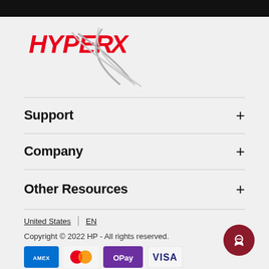[Figure (logo): HyperX brand logo with red stylized text and grey X swoosh mark]
Support
Company
Other Resources
United States | EN
Copyright © 2022 HP - All rights reserved.
[Figure (other): Payment method icons: American Express, Mastercard, OPay, VISA]